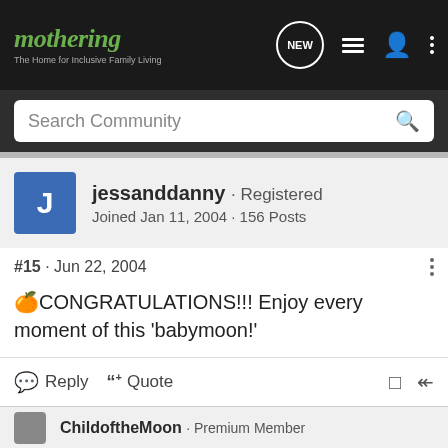mothering · The Home for Inclusive Family Living
Search Community
jessanddanny · Registered
Joined Jan 11, 2004 · 156 Posts
#15 · Jun 22, 2004
🌺CONGRATULATIONS!!! Enjoy every moment of this 'babymoon!'
Reply   Quote
ChildoftheMoon · Premium Member